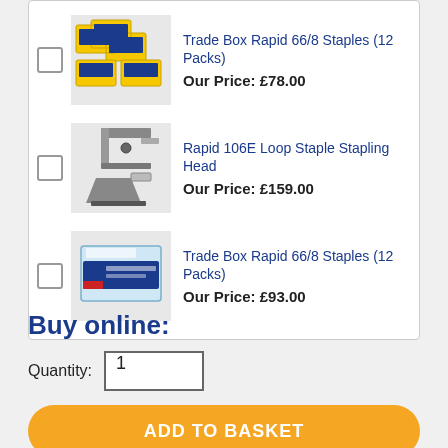Trade Box Rapid 66/8 Staples (12 Packs)
Our Price: £78.00
Rapid 106E Loop Staple Stapling Head
Our Price: £159.00
Trade Box Rapid 66/8 Staples (12 Packs)
Our Price: £93.00
Buy online:
Quantity: 1
ADD TO BASKET